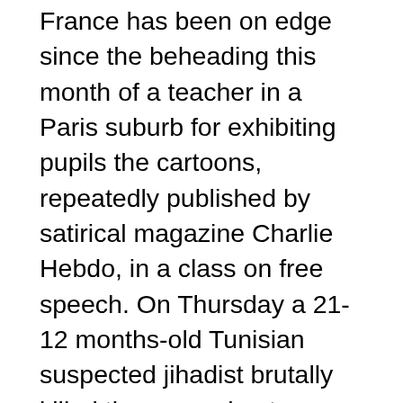France has been on edge since the beheading this month of a teacher in a Paris suburb for exhibiting pupils the cartoons, repeatedly published by satirical magazine Charlie Hebdo, in a class on free speech. On Thursday a 21-12 months-old Tunisian suspected jihadist brutally killed three people at a church in the southern French metropolis of Nice, further raising tensions throughout France. In case you might be trying to find a more intimate communication you'll be able to take pleasure in video and audio calls. dating website presents you wonderful high quality of connection, which is necessary for such type of communication, don't you agree? As it has been talked about above, you can too use audio calls. Here, it's best to know that Japanese ladies want